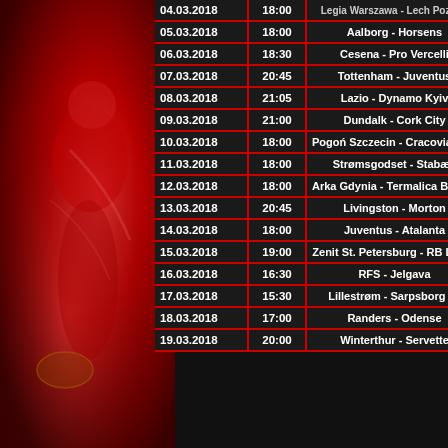[Figure (photo): Sports background image showing an athlete (rugby/football player) in red tones on the left side]
| Date | Time | Match |
| --- | --- | --- |
| 04.03.2018 | 18:00 | Legia Warszawa - Lech Poznań |
| 05.03.2018 | 18:00 | Aalborg - Horsens |
| 06.03.2018 | 18:30 | Cesena - Pro Vercelli |
| 07.03.2018 | 20:45 | Tottenham - Juventus |
| 08.03.2018 | 21:05 | Lazio - Dynamo Kyiv |
| 09.03.2018 | 21:00 | Dundalk - Cork City |
| 10.03.2018 | 18:00 | Pogoń Szczecin - Cracovia Kraków |
| 11.03.2018 | 18:00 | Strømsgodset - Stabæk |
| 12.03.2018 | 18:00 | Arka Gdynia - Termalica BB Nieciecza |
| 13.03.2018 | 20:45 | Livingston - Morton |
| 14.03.2018 | 18:00 | Juventus - Atalanta |
| 15.03.2018 | 19:00 | Zenit St. Petersburg - RB Leipzig |
| 16.03.2018 | 16:30 | RFS - Jelgava |
| 17.03.2018 | 15:30 | Lillestrøm - Sarpsborg 08 |
| 18.03.2018 | 17:00 | Randers - Odense |
| 19.03.2018 | 20:00 | Winterthur - Servette |